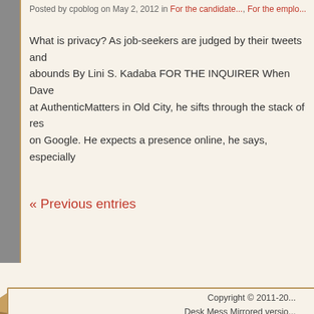Posted by cpoblog on May 2, 2012 in For the candidate..., For the emplo...
What is privacy? As job-seekers are judged by their tweets and... abounds By Lini S. Kadaba FOR THE INQUIRER When Dave... at AuthenticMatters in Old City, he sifts through the stack of res... on Google. He expects a presence online, he says, especially...
« Previous entries
Copyright © 2011-20... Desk Mess Mirrored versio...